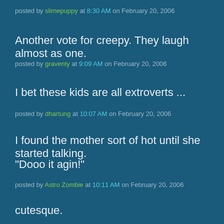posted by slimepuppy at 8:30 AM on February 20, 2006
Another vote for creepy. They laugh almost as one.
posted by graventy at 9:09 AM on February 20, 2006
I bet these kids are all extroverts ...
posted by dhartung at 10:07 AM on February 20, 2006
I found the mother sort of hot until she started talking.
"Dooo it agin!"
posted by Astro Zombie at 10:11 AM on February 20, 2006
cutesque.